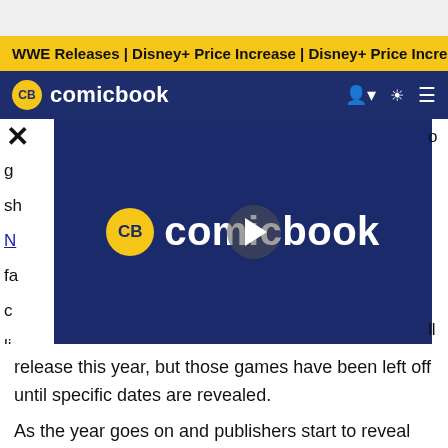WWE Releases | Disney+ Price Increase | Disney+ Price Incre
CB comicbook
[Figure (screenshot): ComicBook.com website screenshot showing navigation bar with CB logo, ticker bar with WWE Releases and Disney+ Price Increase headlines, article content partially visible beside and below a video overlay featuring the ComicBook.com logo with a play button.]
release this year, but those games have been left off until specific dates are revealed.
As the year goes on and publishers start to reveal specific